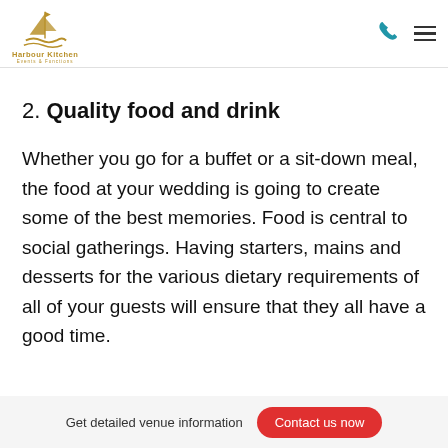Harbour Kitchen Events & Functions
2. Quality food and drink
Whether you go for a buffet or a sit-down meal, the food at your wedding is going to create some of the best memories. Food is central to social gatherings. Having starters, mains and desserts for the various dietary requirements of all of your guests will ensure that they all have a good time.
Get detailed venue information  Contact us now